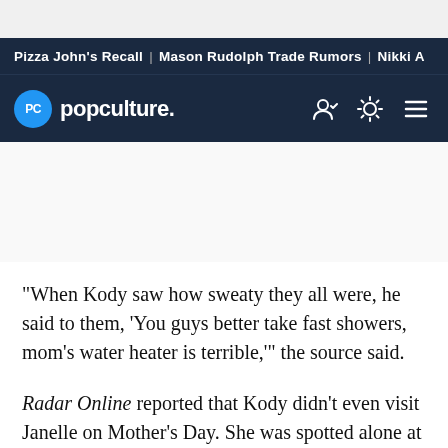Pizza John's Recall | Mason Rudolph Trade Rumors | Nikki A
[Figure (logo): Popculture.com logo with blue circle PC icon and white text 'popculture.' on dark navy navigation bar]
"When Kody saw how sweaty they all were, he said to them, 'You guys better take fast showers, mom's water heater is terrible,'" the source said.
Radar Online reported that Kody didn't even visit Janelle on Mother's Day. She was spotted alone at a farmer's market that day. An onlooker commented on how "lonely"